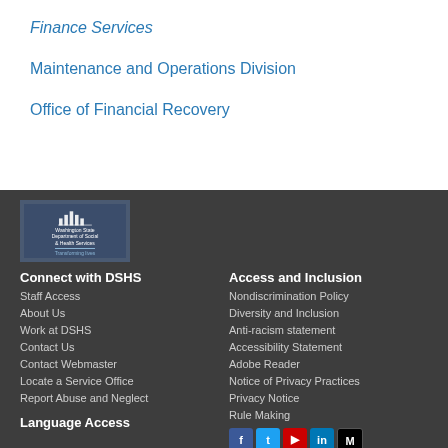Finance Services
Maintenance and Operations Division
Office of Financial Recovery
[Figure (logo): Washington State Department of Social & Health Services logo with tagline 'Transforming lives']
Connect with DSHS
Staff Access
About Us
Work at DSHS
Contact Us
Contact Webmaster
Locate a Service Office
Report Abuse and Neglect
Access and Inclusion
Nondiscrimination Policy
Diversity and Inclusion
Anti-racism statement
Accessibility Statement
Adobe Reader
Notice of Privacy Practices
Privacy Notice
Rule Making
Language Access